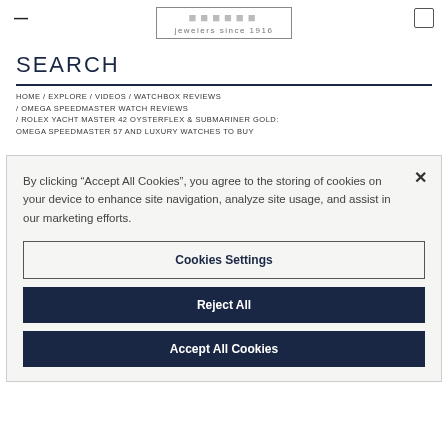— [Logo: jewelers since 1916]
SEARCH
HOME / EXPLORE / VIDEOS / WATCHBOX REVIEWS / OMEGA SPEEDMASTER WATCH REVIEWS / ROLEX YACHT MASTER 42 OYSTERFLEX & SUBMARINER GOLD: OMEGA SPEEDMASTER 57 AND LUXURY WATCHES TO BUY
By clicking "Accept All Cookies", you agree to the storing of cookies on your device to enhance site navigation, analyze site usage, and assist in our marketing efforts.
Cookies Settings
Reject All
Accept All Cookies